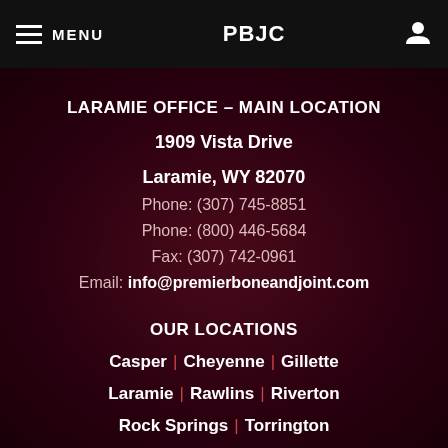MENU | PBJC
LARAMIE OFFICE – MAIN LOCATION
1909 Vista Drive
Laramie, WY 82070
Phone: (307) 745-8851
Phone: (800) 446-5684
Fax: (307) 742-0961
Email: info@premierboneandjoint.com
OUR LOCATIONS
Casper | Cheyenne | Gillette
Laramie | Rawlins | Riverton
Rock Springs | Torrington